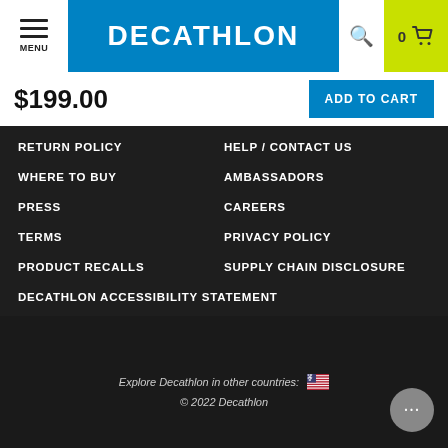[Figure (logo): Decathlon logo with hamburger menu, blue logo area, search icon, and cart with 0 items on lime green background]
$199.00
ADD TO CART
RETURN POLICY
HELP / CONTACT US
WHERE TO BUY
AMBASSADORS
PRESS
CAREERS
TERMS
PRIVACY POLICY
PRODUCT RECALLS
SUPPLY CHAIN DISCLOSURE
DECATHLON ACCESSIBILITY STATEMENT
Explore Decathlon in other countries: 🇺🇸
© 2022 Decathlon